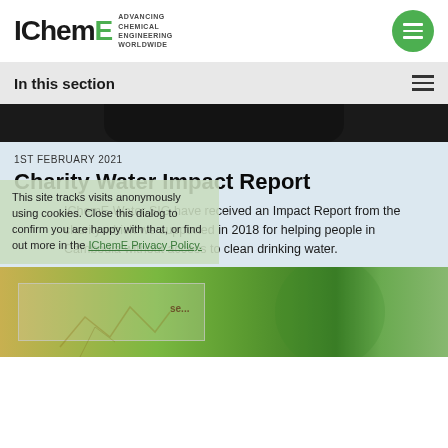IChemE ADVANCING CHEMICAL ENGINEERING WORLDWIDE
In this section
[Figure (photo): Dark navigation bar element from a website screenshot]
1ST FEBRUARY 2021
Charity Water Impact Report
IChemE Water SIG have received an Impact Report from the charity which we supported in 2018 for helping people in Cambodia without access to clean drinking water.
This site tracks visits anonymously using cookies. Close this dialog to confirm you are happy with that, or find out more in the IChemE Privacy Policy.
[Figure (photo): Photo strip showing green plant/bottle against outdoor background]